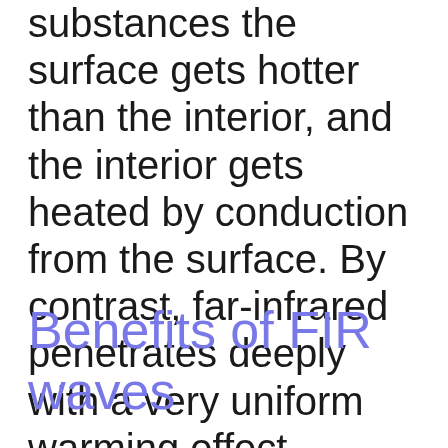substances the surface gets hotter than the interior, and the interior gets heated by conduction from the surface. By contrast, far-infrared penetrates deeply with a very uniform warming effect.
Benefits of FIR waves